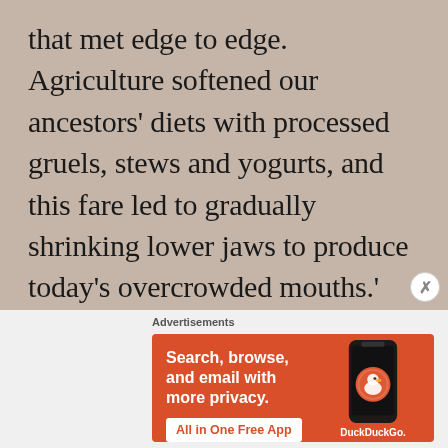that met edge to edge. Agriculture softened our ancestors' diets with processed gruels, stews and yogurts, and this fare led to gradually shrinking lower jaws to produce today's overcrowded mouths.' Overbites, in other words.
Advertisements
[Figure (infographic): DuckDuckGo advertisement banner with orange background. Text reads: 'Search, browse, and email with more privacy. All in One Free App'. Shows a smartphone with DuckDuckGo logo and branding.]